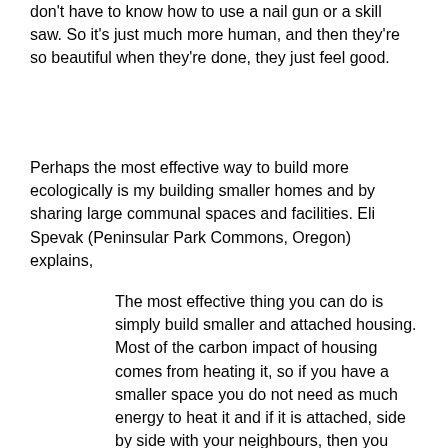don't have to know how to use a nail gun or a skill saw. So it's just much more human, and then they're so beautiful when they're done, they just feel good.
Perhaps the most effective way to build more ecologically is my building smaller homes and by sharing large communal spaces and facilities. Eli Spevak (Peninsular Park Commons, Oregon) explains,
The most effective thing you can do is simply build smaller and attached housing. Most of the carbon impact of housing comes from heating it, so if you have a smaller space you do not need as much energy to heat it and if it is attached, side by side with your neighbours, then you also need less heat because the common walls share the heat across the buildings. One of the things we do is build smaller spaces and then have common